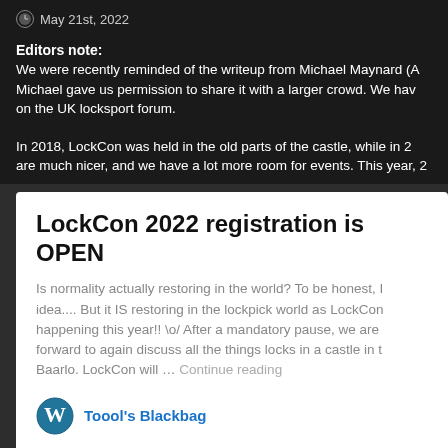May 21st, 2022
Editors note:
We were recently reminded of the writeup from Michael Maynard (A... Michael gave us permission to share it with a larger crowd. We hav... on the UK locksport forum.
In 2018, LockCon was held in the old parts of the castle, while in 2... are much nicer, and we have a lot more room for events. This year, 2...
LockCon 2022 registration is OPEN
Is normality actually restoring in the world? To be honest, I... idea.... But it IS restoring in the lockpick world as LockCon... happening this year!! \o/  After a mandatory pause, we are... forward to again discuss all the things locks in a castle in t... Baarlo. LockCon will … Continue reading
Toool's Blackbag
Michael: